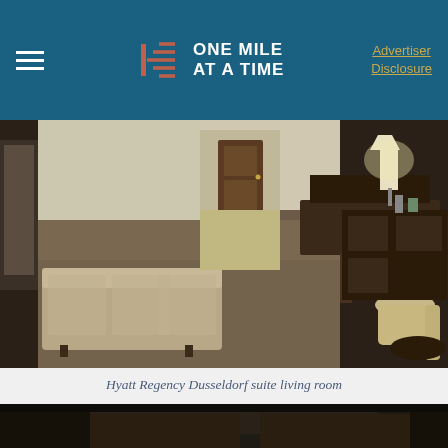ONE MILE AT A TIME | Advertiser Disclosure
[Figure (photo): Hyatt Regency Dusseldorf suite living room showing sofa, desk, chair, lamp, and dark wood furniture on patterned carpet]
Hyatt Regency Dusseldorf suite living room
[Figure (photo): Partial view of another hotel room interior, dark tones, partially cut off at bottom of page]